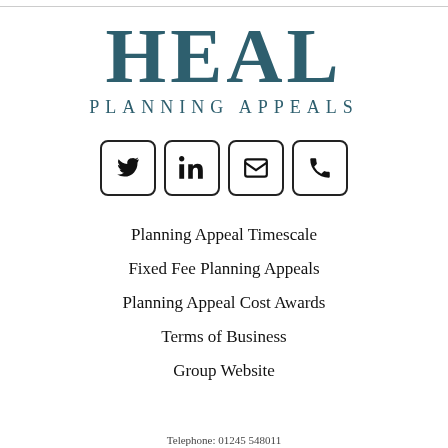HEAL PLANNING APPEALS
[Figure (infographic): Four social media / contact icon buttons in rounded square boxes: Twitter bird icon, LinkedIn icon, Email envelope icon, Phone handset icon]
Planning Appeal Timescale
Fixed Fee Planning Appeals
Planning Appeal Cost Awards
Terms of Business
Group Website
Telephone: 01245 548011